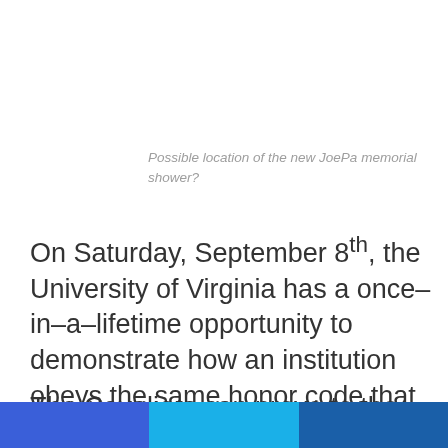Possible location of the new JoePa memorial shower?
On Saturday, September 8th, the University of Virginia has a once–in–a–lifetime opportunity to demonstrate how an institution obeys the same honor code that governs its students.
The Cavaliers can prove to the world that UVA's honor code is more than mere words when they refuse to play their football game against Penn
[Figure (other): Three colored horizontal bars at the bottom: blue, light blue, dark blue]